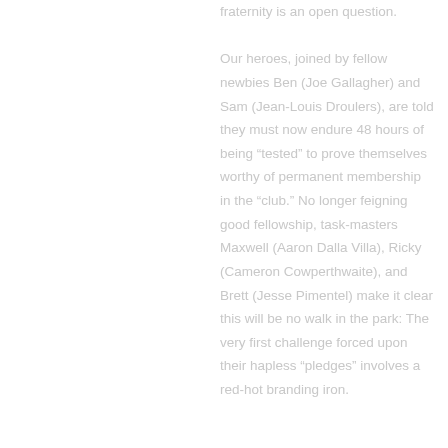fraternity is an open question. Our heroes, joined by fellow newbies Ben (Joe Gallagher) and Sam (Jean-Louis Droulers), are told they must now endure 48 hours of being “tested” to prove themselves worthy of permanent membership in the “club.” No longer feigning good fellowship, task-masters Maxwell (Aaron Dalla Villa), Ricky (Cameron Cowperthwaite), and Brett (Jesse Pimentel) make it clear this will be no walk in the park: The very first challenge forced upon their hapless “pledges” involves a red-hot branding iron.